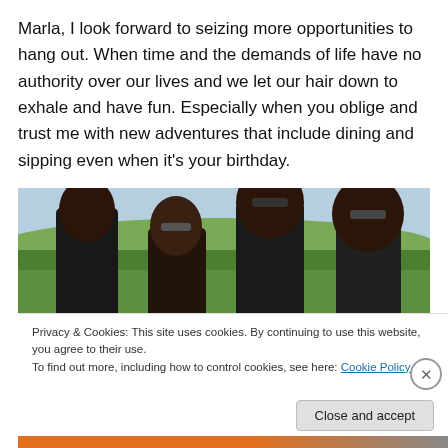Marla, I look forward to seizing more opportunities to hang out. When time and the demands of life have no authority over our lives and we let our hair down to exhale and have fun. Especially when you oblige and trust me with new adventures that include dining and sipping even when it's your birthday.
[Figure (photo): Four people standing outdoors in front of a green landscape with hills and trees in the background. Two men and two women, all wearing dark clothing, posing together for a photo.]
Privacy & Cookies: This site uses cookies. By continuing to use this website, you agree to their use.
To find out more, including how to control cookies, see here: Cookie Policy
Close and accept